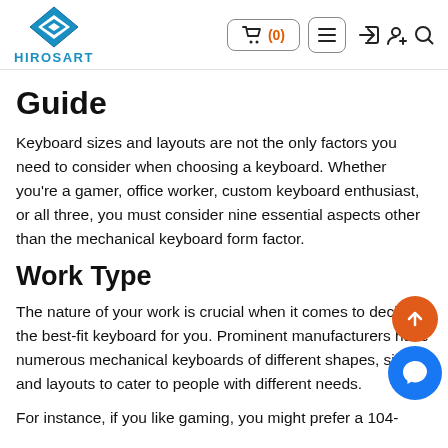HIROSART — navigation header with logo, cart (0), menu, login, add user, search
Guide
Keyboard sizes and layouts are not the only factors you need to consider when choosing a keyboard. Whether you're a gamer, office worker, custom keyboard enthusiast, or all three, you must consider nine essential aspects other than the mechanical keyboard form factor.
Work Type
The nature of your work is crucial when it comes to deciding the best-fit keyboard for you. Prominent manufacturers have numerous mechanical keyboards of different shapes, sizes, and layouts to cater to people with different needs.
For instance, if you like gaming, you might prefer a 104-key mechanical keyboard for a better gaming experience...